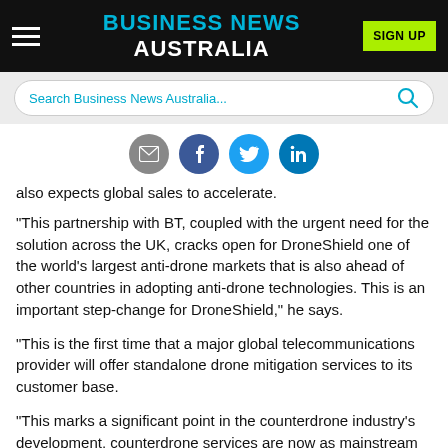BUSINESS NEWS AUSTRALIA
also expects global sales to accelerate.
"This partnership with BT, coupled with the urgent need for the solution across the UK, cracks open for DroneShield one of the world's largest anti-drone markets that is also ahead of other countries in adopting anti-drone technologies. This is an important step-change for DroneShield," he says.
"This is the first time that a major global telecommunications provider will offer standalone drone mitigation services to its customer base.
"This marks a significant point in the counterdrone industry's development, counterdrone services are now as mainstream